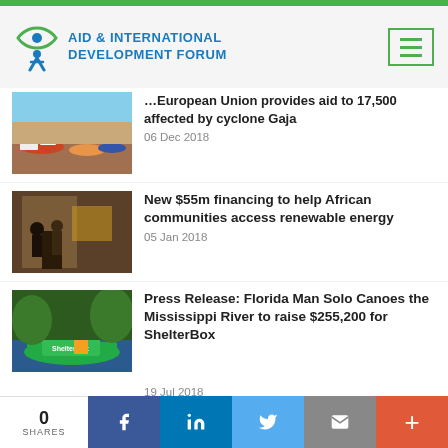[Figure (logo): Aid & International Development Forum logo with eye/person icon]
European Union provides aid to 17,500 affected by cyclone Gaja
06 Dec 2018
New $55m financing to help African communities access renewable energy
05 Jan 2018
Press Release: Florida Man Solo Canoes the Mississippi River to raise $255,200 for ShelterBox
19 Jul 2018
0 SHARES | Facebook | LinkedIn | Twitter | Email | +